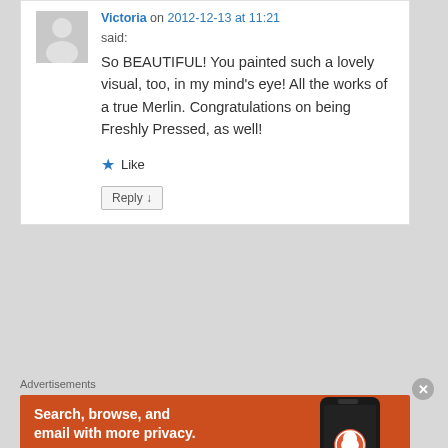[Figure (illustration): Gray placeholder avatar silhouette of a person]
Victoria on 2012-12-13 at 11:21
said:
So BEAUTIFUL! You painted such a lovely visual, too, in my mind’s eye! All the works of a true Merlin. Congratulations on being Freshly Pressed, as well!
★ Like
Reply ↓
Advertisements
[Figure (illustration): DuckDuckGo advertisement banner with orange background, text 'Search, browse, and email with more privacy. All in One Free App' and a phone image with DuckDuckGo logo]